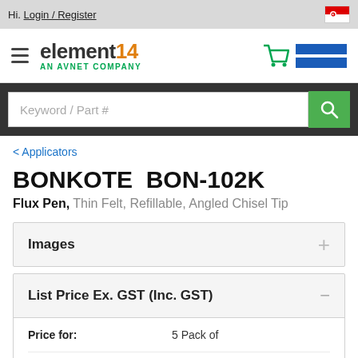Hi. Login / Register
[Figure (logo): element14 AN AVNET COMPANY logo with hamburger menu and shopping cart]
Keyword / Part #
< Applicators
BONKOTE  BON-102K
Flux Pen, Thin Felt, Refillable, Angled Chisel Tip
Images
List Price Ex. GST (Inc. GST)
| Price for: | 5 Pack of |
| Minimum order quantity: | 1 |